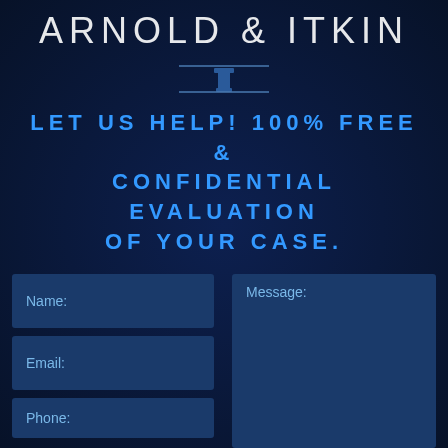ARNOLD & ITKIN
[Figure (illustration): Pillar/column icon with horizontal lines on dark blue background]
LET US HELP! 100% FREE & CONFIDENTIAL EVALUATION OF YOUR CASE.
Name:
Email:
Phone:
Message: